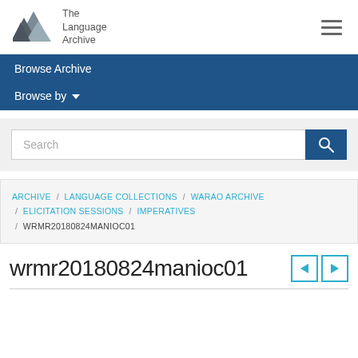The Language Archive
Browse Archive
Browse by
Search
ARCHIVE / LANGUAGE COLLECTIONS / WARAO ARCHIVE / ELICITATION SESSIONS / IMPERATIVES / WRMR20180824MANIOC01
wrmr20180824manioc01